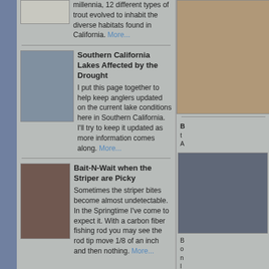millennia, 12 different types of trout evolved to inhabit the diverse habitats found in California. More...
[Figure (photo): Lake photo showing Southern California lake with low water levels due to drought]
Southern California Lakes Affected by the Drought
I put this page together to help keep anglers updated on the current lake conditions here in Southern California. I'll try to keep it updated as more information comes along. More...
[Figure (photo): Man holding large fish, striper fishing photo]
Bait-N-Wait when the Striper are Picky
Sometimes the striper bites become almost undetectable. In the Springtime I've come to expect it. With a carbon fiber fishing rod you may see the rod tip move 1/8 of an inch and then nothing. More...
[Figure (photo): Cracked dry earth photo in right column]
[Figure (photo): Man holding two large fish in right column]